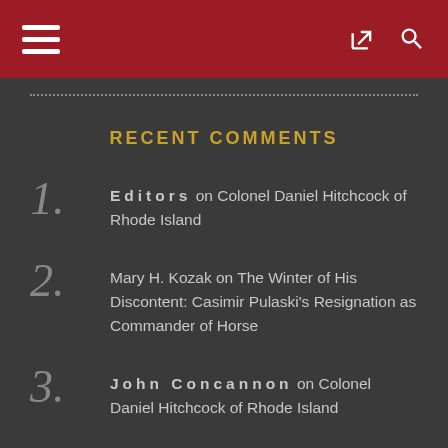Navigation bar with hamburger menu, share icon, and search icon
RECENT COMMENTS
Editors on Colonel Daniel Hitchcock of Rhode Island
Mary H. Kozak on The Winter of His Discontent: Casimir Pulaski's Resignation as Commander of Horse
John Concannon on Colonel Daniel Hitchcock of Rhode Island